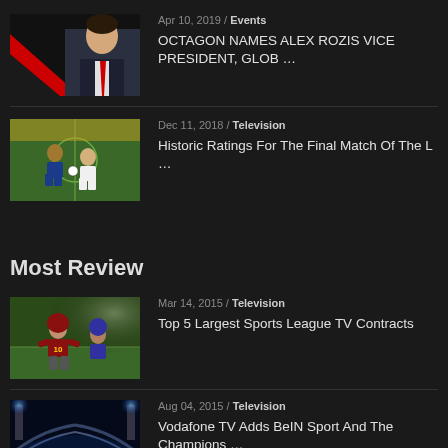Apr 10, 2019 / Events
OCTAGON NAMES ALEX ROZIS VICE PRESIDENT, GLOB …
Dec 11, 2018 / Television
Historic Ratings For The Final Match Of The L …
Most Review
Mar 14, 2015 / Television
Top 5 Largest Sports League TV Contracts
Aug 04, 2015 / Television
Vodafone TV Adds BeIN Sport And The Champions …